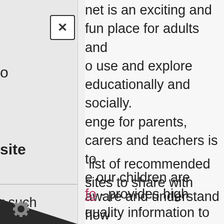[Figure (screenshot): Partial screenshot of a webpage with a close (X) button in the top-left area, a sidebar with partial text including 'o' and 'site', and a dark triangle with a gear icon in the bottom-left corner.]
net is an exciting and fun place for adults and o use and explore educationally and socially. enge for parents, carers and teachers is to e our children are aware and understand how when using the internet and related gies.
list of recommended sites to share with
fo - provides high quality information to nd carers about their children's wellbeing and Schools can host the content on their own nd use it in any other ways (in letters to tc) that they want.